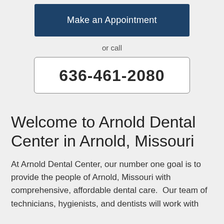[Figure (other): Blue button labeled 'Make an Appointment']
or call
[Figure (other): Phone number box with border showing 636-461-2080]
Welcome to Arnold Dental Center in Arnold, Missouri
At Arnold Dental Center, our number one goal is to provide the people of Arnold, Missouri with comprehensive, affordable dental care.  Our team of technicians, hygienists, and dentists will work with